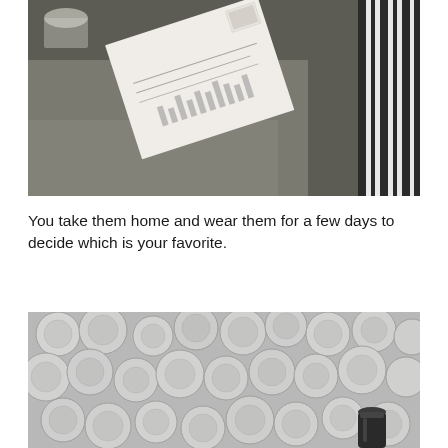[Figure (photo): Photo of a table surface with papers/documents and glasses visible, person wearing striped clothing visible on the right edge]
You take them home and wear them for a few days to decide which is your favorite.
[Figure (photo): Close-up photo of bubble wrap with a small dark cylindrical object visible in the lower right area]